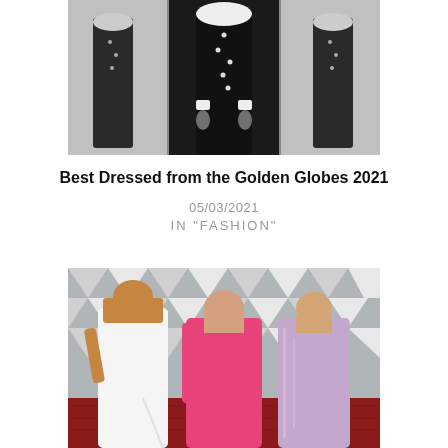[Figure (photo): Black and white photo of a person in a dark outfit with pearl/button details, shown in mirror reflections, wearing a ruffled collar, from torso down, hands at sides]
Best Dressed from the Golden Globes 2021
05/03/2021
IN "FASHION"
[Figure (photo): Color photo of three women on a red carpet in front of a geometric diamond-pattern backdrop. Left woman wears a white strapless gown, center woman wears a deep pink/fuchsia flowing dress with one long sleeve, right woman wears a light lavender/lilac strapless gown.]